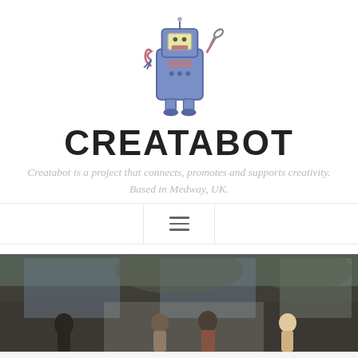[Figure (illustration): Cartoon robot mascot: blue boxy body with a yellow face panel, pink mouth slot, antenna arm raised holding a wrench, spring arm on other side, blue feet.]
CREATABOT
Creatabot is a project that connects, promotes and supports creativity. Based in Medway, UK.
[Figure (other): Navigation bar with hamburger menu icon (three horizontal lines) centered between two empty panels, with vertical dividers.]
[Figure (photo): A wide photographic strip showing a group of people standing in front of large glass windows in an industrial or station-like setting.]
Follow  ···